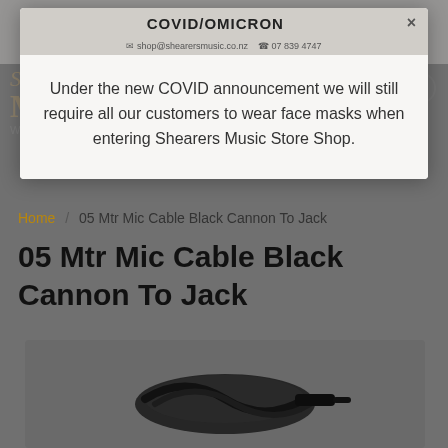[Figure (screenshot): Shearers Music website screenshot showing a COVID/Omicron modal popup over a product page for '05 Mtr Mic Cable Black Cannon To Jack'. The modal has a gray top bar with title 'COVID/OMICRON', contact info, and a close button X. Below the modal, breadcrumb navigation shows 'Home / 05 Mtr Mic Cable Black Cannon To Jack' and the product title. The bottom shows the beginning of a product image area with a dark cable.]
COVID/OMICRON
shop@shearersmusic.co.nz  07 839 4747
Under the new COVID announcement we will still require all our customers to wear face masks when entering Shearers Music Store Shop.
Home / 05 Mtr Mic Cable Black Cannon To Jack
05 Mtr Mic Cable Black Cannon To Jack